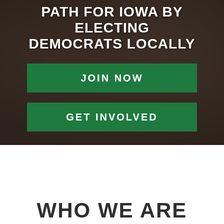[Figure (photo): Dark background photo of people seated at tables/in chairs, dimly lit room, overlaid with dark semi-transparent overlay]
PATH FOR IOWA BY ELECTING DEMOCRATS LOCALLY
JOIN NOW
GET INVOLVED
WHO WE ARE